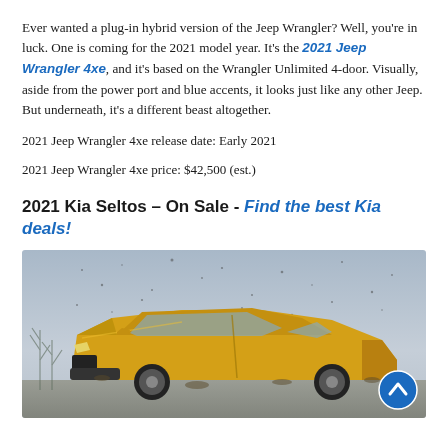Ever wanted a plug-in hybrid version of the Jeep Wrangler? Well, you're in luck. One is coming for the 2021 model year. It's the 2021 Jeep Wrangler 4xe, and it's based on the Wrangler Unlimited 4-door. Visually, aside from the power port and blue accents, it looks just like any other Jeep. But underneath, it's a different beast altogether.
2021 Jeep Wrangler 4xe release date: Early 2021
2021 Jeep Wrangler 4xe price: $42,500 (est.)
2021 Kia Seltos – On Sale - Find the best Kia deals!
[Figure (photo): Yellow Kia Seltos SUV driving through snowy/muddy conditions, front three-quarter view, with a grey winter sky background.]